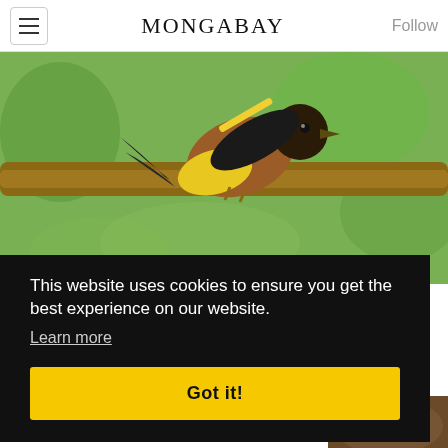MONGABAY
[Figure (photo): A yellow and black bird perched on a branch with green blurred background]
In oil palm-dominated Malaysia, agroforestry boosts return of birdlife. Study
This website uses cookies to ensure you get the best experience on our website.
Learn more
Got it!
[Figure (photo): Partial photo visible at bottom right corner]